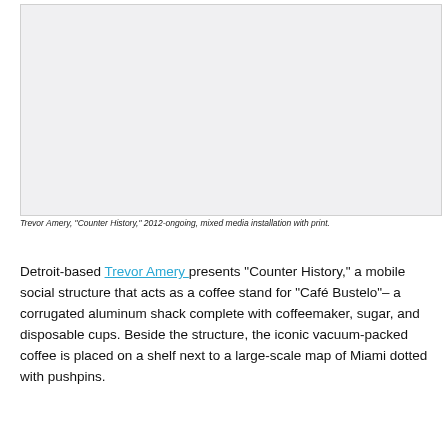[Figure (photo): Photograph of Trevor Amery's 'Counter History' installation, a mixed media installation with print, showing a corrugated aluminum shack structure serving as a coffee stand.]
Trevor Amery, "Counter History," 2012-ongoing, mixed media installation with print.
Detroit-based Trevor Amery presents "Counter History," a mobile social structure that acts as a coffee stand for "Café Bustelo"– a corrugated aluminum shack complete with coffeemaker, sugar, and disposable cups. Beside the structure, the iconic vacuum-packed coffee is placed on a shelf next to a large-scale map of Miami dotted with pushpins.